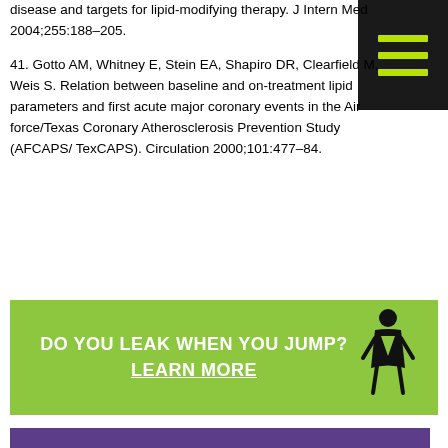disease and targets for lipid-modifying therapy. J Intern Med 2004;255:188–205.
41. Gotto AM, Whitney E, Stein EA, Shapiro DR, Clearfield M, Weis S. Relation between baseline and on-treatment lipid parameters and first acute major coronary events in the Air force/Texas Coronary Atherosclerosis Prevention Study (AFCAPS/ TexCAPS). Circulation 2000;101:477–84.
[Figure (illustration): Green banner advertisement: 'DO YOU LEAK WHEN YOU JUMP? LEARN MORE' with a female figure icon on the right side.]
[Figure (illustration): Purple banner at bottom, partially visible, appears to be a medical advertisement with pill/medication imagery.]